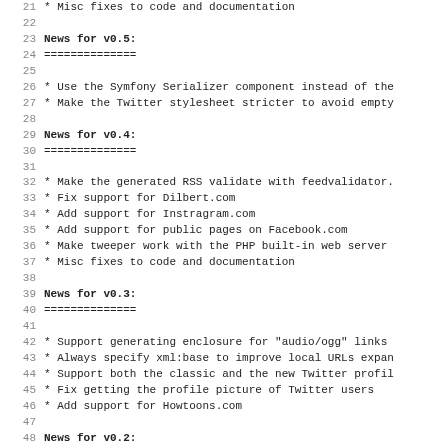21    * Misc fixes to code and documentation
22
23 News for v0.5:
24 ==============
25
26    * Use the Symfony Serializer component instead of the
27    * Make the Twitter stylesheet stricter to avoid empty
28
29 News for v0.4:
30 ==============
31
32    * Make the generated RSS validate with feedvalidator.
33    * Fix support for Dilbert.com
34    * Add support for Instragram.com
35    * Add support for public pages on Facebook.com
36    * Make tweeper work with the PHP built-in web server
37    * Misc fixes to code and documentation
38
39 News for v0.3:
40 ==============
41
42    * Support generating enclosure for "audio/ogg" links
43    * Always specify xml:base to improve local URLs expan
44    * Support both the classic and the new Twitter profil
45    * Fix getting the profile picture of Twitter users
46    * Add support for Howtoons.com
47
48 News for v0.2:
49 ==============
50
51    * Small fixes to the man page which must be in the co
52
53 News for v0.1